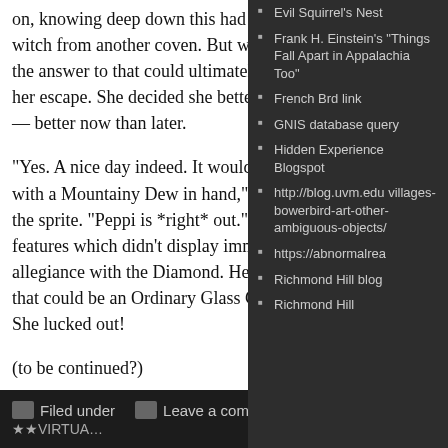on, knowing deep down this had to be another witch from another coven. But which? She knew the answer to that could ultimately make or break her escape. She decided she better get it over with — better now than later.
“Yes. A nice day indeed. It would be even nicer with a Mountainy Dew in hand,” she returned to the sprite. “Peppi is *right* out.” She gauged the features which didn’t display immediate allegiance with the Diamond. Here was a fairy that could be an Ordinary Glass Coke gal instead. She lucked out!
(to be continued?)
Filed under   Leave a comment
Evil Squirrel's Nest
Frank H. Einstein's "Things Fall Apart in Appalachia Too"
French Brd link
GNIS database query
Hidden Experience Blogspot
http://blog.uvm.edu villages-bowerbird-art-other-ambiguous-objects/
https://abnormalrea
Richmond Hill blog
Richmond Hill